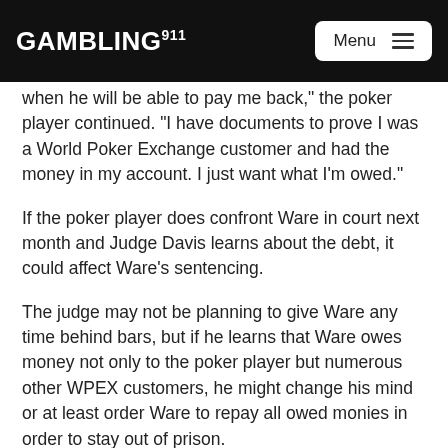GAMBLING911 Menu
when he will be able to pay me back," the poker player continued. "I have documents to prove I was a World Poker Exchange customer and had the money in my account. I just want what I'm owed."
If the poker player does confront Ware in court next month and Judge Davis learns about the debt, it could affect Ware's sentencing.
The judge may not be planning to give Ware any time behind bars, but if he learns that Ware owes money not only to the poker player but numerous other WPEX customers, he might change his mind or at least order Ware to repay all owed monies in order to stay out of prison.
And if the judge is leaning towards a prison term for Ware, this fiasco could increase the sentence.